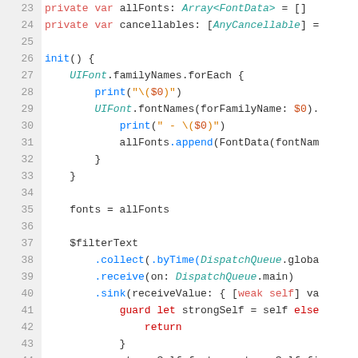[Figure (screenshot): Swift source code snippet showing lines 23-45 of a class implementation with syntax highlighting. The code includes private variable declarations, an init() function with UIFont family enumeration, font data collection, and Combine publisher chain with $filterText.]